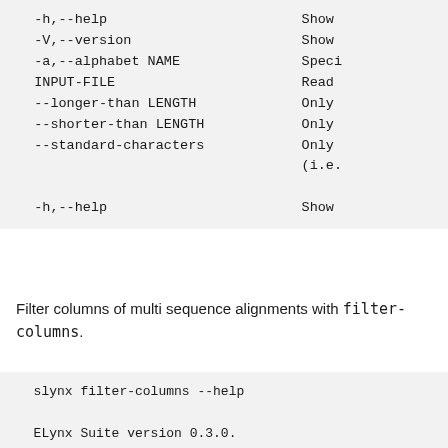-h,--help  Show
-V,--version  Show
-a,--alphabet NAME  Speci
INPUT-FILE  Read
--longer-than LENGTH  Only
--shorter-than LENGTH  Only
--standard-characters  Only
  (i.e.
-h,--help  Show
Filter columns of multi sequence alignments with filter-columns.
slynx filter-columns --help

ELynx Suite version 0.3.0.
Developed by Dominik Schrempf.
Compiled on July 30, 2020, at 12